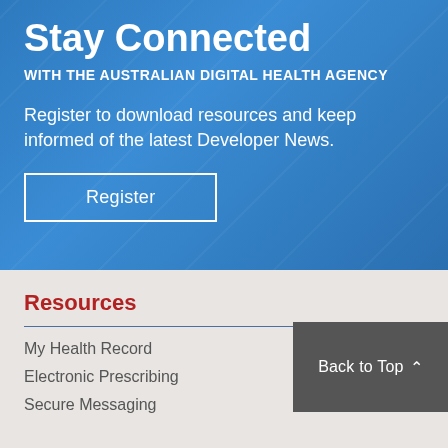Stay Connected
WITH THE AUSTRALIAN DIGITAL HEALTH AGENCY
Register to download resources and keep informed of the latest Developer News.
Register
Resources
My Health Record
Electronic Prescribing
Secure Messaging
Back to Top ^